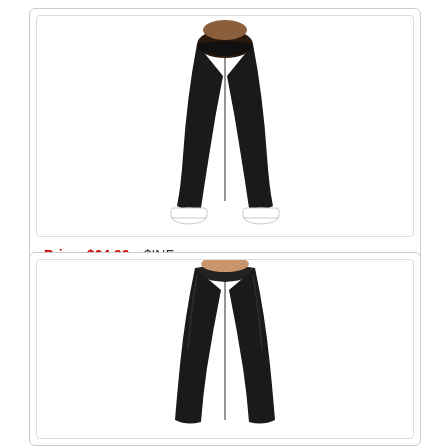[Figure (photo): Woman wearing black leggings and white sneakers, shown from waist down, facing slightly away]
Price: $64.99   $INF
Amazon.com: Amazon Essentials Women's
[Figure (photo): Woman wearing black leggings, shown from waist down, standing pose]